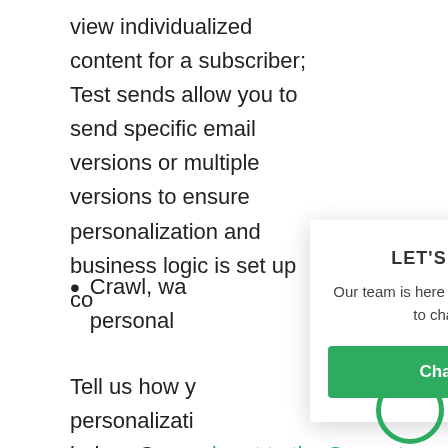view individualized content for a subscriber; Test sends allow you to send specific email versions or multiple versions to ensure personalization and business logic is set up co
Crawl, wa… personal…
Tell us how y… personalizati… below. Or reach out to the Sercante team for help figuring out how to leverage th…
[Figure (screenshot): Chat popup modal with title 'LET'S CONNECT', subtitle 'Our team is here to help. Please feel free to chat or call us!', green 'Chat with us' button, and a green X close button in the top right corner.]